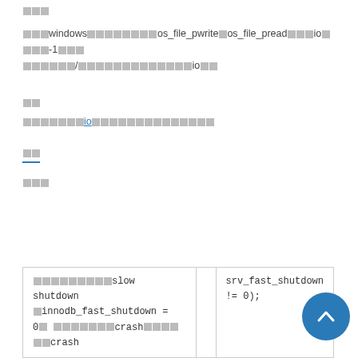...
在非windows环境下，通过os_file_pwrite和os_file_pread进行io操作，-1则通过读写/搜索的方式执行io操作
参考
InnoDB的io子系统及相关参数（链接）
历史
说明
| 说明 |  | srv_fast_shutdown != 0); |
| --- | --- | --- |
| 进行slow shutdown（innodb_fast_shutdown = 0）时，如果crash恢复后crash |  | srv_fast_shutdown != 0); |